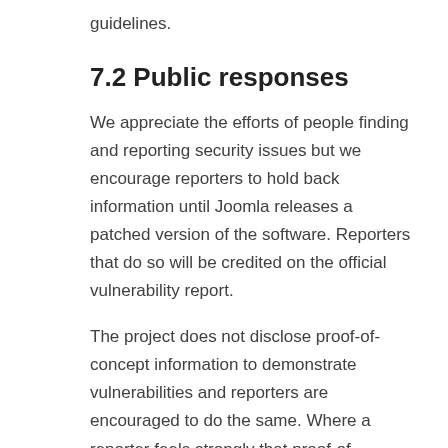guidelines.
7.2 Public responses
We appreciate the efforts of people finding and reporting security issues but we encourage reporters to hold back information until Joomla releases a patched version of the software. Reporters that do so will be credited on the official vulnerability report.
The project does not disclose proof-of-concept information to demonstrate vulnerabilities and reporters are encouraged to do the same. Where a reporter feels strongly that proof-of-concept instructions should be published, they are encouraged to hold that information for an additional period of at least 4 weeks after the release of the patched version of the software.
The JSST will be available to answer questions and/or validate any Joomla security related articles at the publisher's request.